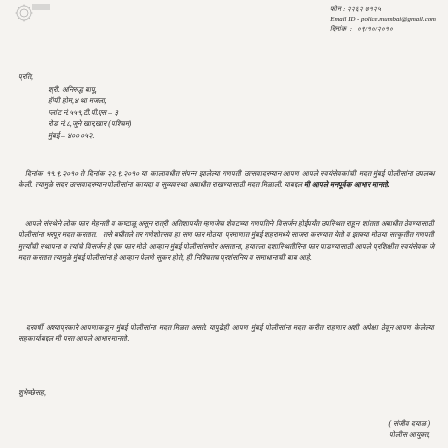फोन : २२६२ ७१२५
Email ID - police.mumbai@gmail.com
दिनांक : ०९/१०/२०१०
प्रति,
श्री. अनिरुद्ध बापू,
हॅप्पी होम,४ था मजला,
प्लांट नं.५५१,टी.पी.एस – ३
रोड नं.८,जुने खार,खार (पश्चिम)
मुंबई – ४०० ०५२.
दिनांक ११.९.२०१० ते दिनांक २२.९.२०१० या कालावधीत संपन्न झालेल्या गणपती उत्सवादरम्यान आपण आपले स्वयंसेवकांची मदत मुंबई पोलीसांना उपलब्ध केली. त्यामुळे सदर उत्सवादरम्यान पोलीसांना कायदा व सुव्यवस्था अबाधीत राखण्यासाठी मदत मिळाली. याबद्दल मी आपले मनपूर्वक आभार मानतो.
आपले संस्थेने लोक फार मेहनती व कष्टाळू असून रात्री अतिशापर्यंत म्हणजेच शेवटच्या गणपतिने विसर्जन होईपर्यंत उपस्थित राहून शांतता अबाधीत ठेवण्यासाठी पोलीसांना भरपूर मदत करतात. तसे बघीतले तर गणेशोत्सव हा सण फार मोठया प्रमाणात मुंबई शहरामध्ये साजरा करण्यात येतो व इतक्या मोठया सत्कृतीत गणपती मुर्त्यांची स्थापना व त्यांचे विसर्जन हे एक फार मोठे आव्हान मुंबई पोलीसांसमोर असताना, हयात्ला दशास्थितीरिना फार पाडण्यासाठी आपले प्रशिक्षीत स्वयंसेवक जे मदत करतात त्यामुळे मुंबई पोलीसांना हे आव्हान पेलणे सुकर होते, ही निश्चितच प्रशंसनिय व समाधानाची बाब आहे.
दरवर्षी अश्याप्रकारे आपणाकडून मुंबई पोलीसांना मदत मिळत असते. यापुढेही आपण मुंबई पोलीसांना मदत करीत राहणार अशी अपेक्षा ठेवून आपण केलेल्या सहकार्याबद्दल मी परत आपले आभार मानतो.
शुभेच्छेसह,
( संजीव दयाळ )
पोलीस आयुक्त,